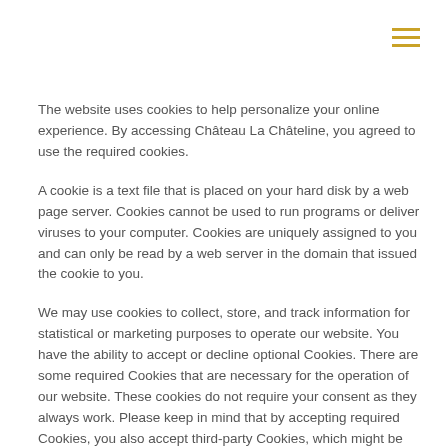The website uses cookies to help personalize your online experience. By accessing Château La Châteline, you agreed to use the required cookies.
A cookie is a text file that is placed on your hard disk by a web page server. Cookies cannot be used to run programs or deliver viruses to your computer. Cookies are uniquely assigned to you and can only be read by a web server in the domain that issued the cookie to you.
We may use cookies to collect, store, and track information for statistical or marketing purposes to operate our website. You have the ability to accept or decline optional Cookies. There are some required Cookies that are necessary for the operation of our website. These cookies do not require your consent as they always work. Please keep in mind that by accepting required Cookies, you also accept third-party Cookies, which might be used via third-party provided